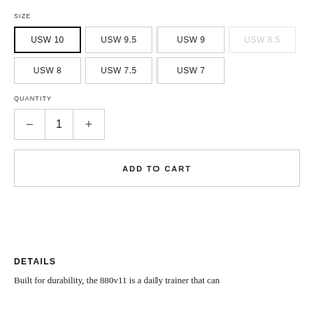SIZE
USW 10 (selected), USW 9.5, USW 9, USW 8.5 (unavailable), USW 8, USW 7.5, USW 7
QUANTITY
- 1 +
ADD TO CART
DETAILS
Built for durability, the 880v11 is a daily trainer that can